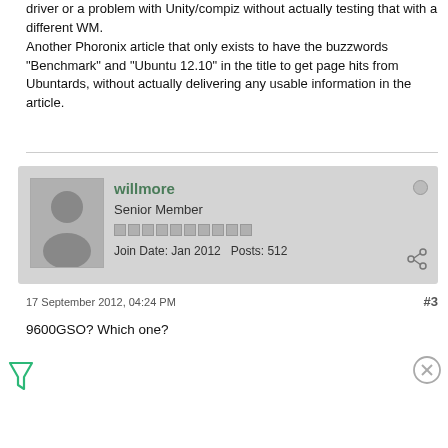driver or a problem with Unity/compiz without actually testing that with a different WM.
Another Phoronix article that only exists to have the buzzwords "Benchmark" and "Ubuntu 12.10" in the title to get page hits from Ubuntards, without actually delivering any usable information in the article.
willmore
Senior Member
Join Date: Jan 2012   Posts: 512
17 September 2012, 04:24 PM
#3
9600GSO? Which one?